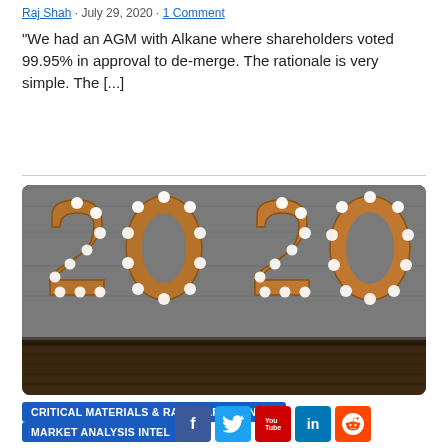Raj Shah · July 29, 2020 · 1 Comment
“We had an AGM with Alkane where shareholders voted 99.95% in approval to de-merge. The rationale is very simple. The […]
[Figure (photo): Decorative marquee light-up letters spelling '2020' on a wooden floor against a grey concrete wall background]
CRITICAL MATERIALS & RARE EARTHS INTEL
MARKET ANALYSIS INTEL